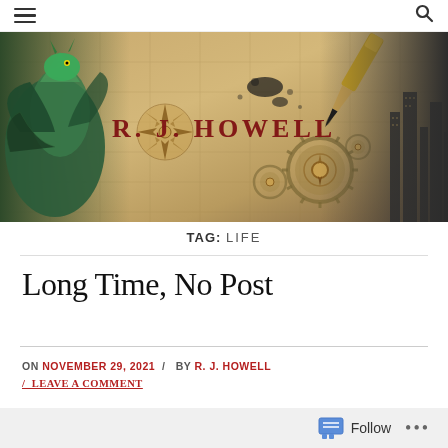Menu / Search
[Figure (illustration): Fantasy-themed banner image with an old parchment map background, a green dragon on the left, a compass rose, steampunk gears, a fountain pen, a cityscape on the right, and the text 'R. J. HOWELL' in dark red serif lettering in the center.]
TAG: LIFE
Long Time, No Post
ON NOVEMBER 29, 2021 / BY R. J. HOWELL
/ LEAVE A COMMENT
Follow ...